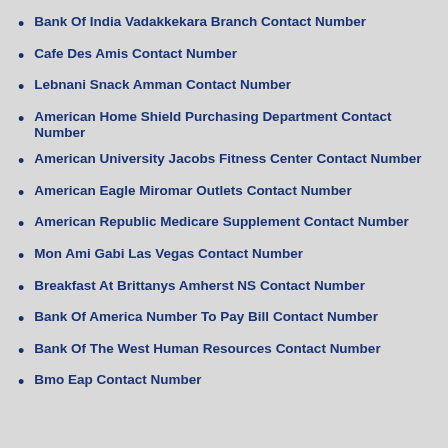Bank Of India Vadakkekara Branch Contact Number
Cafe Des Amis Contact Number
Lebnani Snack Amman Contact Number
American Home Shield Purchasing Department Contact Number
American University Jacobs Fitness Center Contact Number
American Eagle Miromar Outlets Contact Number
American Republic Medicare Supplement Contact Number
Mon Ami Gabi Las Vegas Contact Number
Breakfast At Brittanys Amherst NS Contact Number
Bank Of America Number To Pay Bill Contact Number
Bank Of The West Human Resources Contact Number
Bmo Eap Contact Number